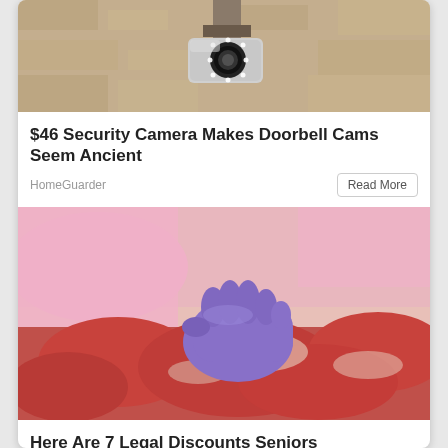[Figure (photo): Security camera mounted on a stone/concrete wall, metallic housing with LED ring visible]
$46 Security Camera Makes Doorbell Cams Seem Ancient
HomeGuarder
Read More
[Figure (photo): Person wearing pink long sleeves and purple gloves handling raw meat cuts at a butcher counter]
Here Are 7 Legal Discounts Seniors